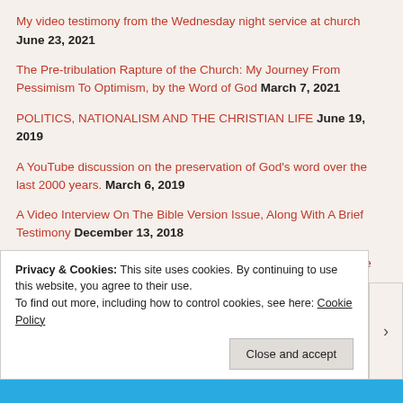My video testimony from the Wednesday night service at church  June 23, 2021
The Pre-tribulation Rapture of the Church: My Journey From Pessimism To Optimism, by the Word of God  March 7, 2021
POLITICS, NATIONALISM AND THE CHRISTIAN LIFE  June 19, 2019
A YouTube discussion on the preservation of God's word over the last 2000 years.  March 6, 2019
A Video Interview On The Bible Version Issue, Along With A Brief Testimony  December 13, 2018
The Supremacy and Certainty of Scripture: What Exactly we Have with the Written Word of God  November 2, 2018
Piercing the Darkness: Preaching the Gospel in Key West, Florida
Privacy & Cookies: This site uses cookies. By continuing to use this website, you agree to their use. To find out more, including how to control cookies, see here: Cookie Policy
Close and accept